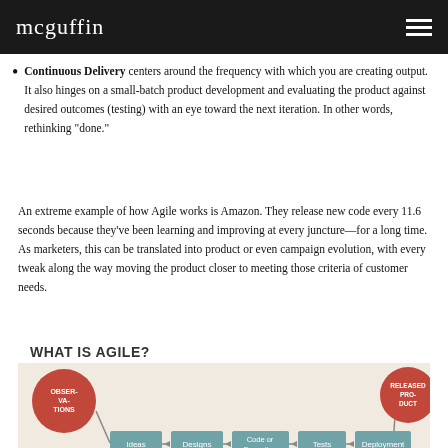mcguffin
Continuous Delivery centers around the frequency with which you are creating output. It also hinges on a small-batch product development and evaluating the product against desired outcomes (testing) with an eye toward the next iteration. In other words, rethinking "done."
An extreme example of how Agile works is Amazon. They release new code every 11.6 seconds because they've been learning and improving at every juncture—for a long time. As marketers, this can be translated into product or even campaign evolution, with every tweak along the way moving the product closer to meeting those criteria of customer needs.
WHAT IS AGILE?
[Figure (flowchart): Agile process flowchart showing: OBSERVATIONS (red circle) → Ideas → Designs → Code or Execution → Tests → Deployment → RELEASED PRODUCT (red circle), with a feedback arrow looping back from bottom]